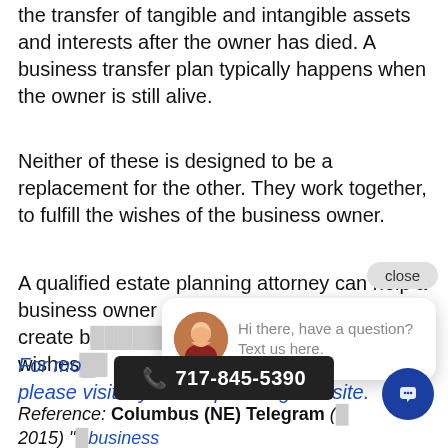the transfer of tangible and intangible assets and interests after the owner has died. A business transfer plan typically happens when the owner is still alive.
Neither of these is designed to be a replacement for the other. They work together, to fulfill the wishes of the business owner.
A qualified estate planning attorney can help a business owner sort out the issues create b[...] wishes[...]
For mo[...] please visit my estate planning website.
Reference: Columbus (NE) Telegram (... 2015) "[...] business transition quite different